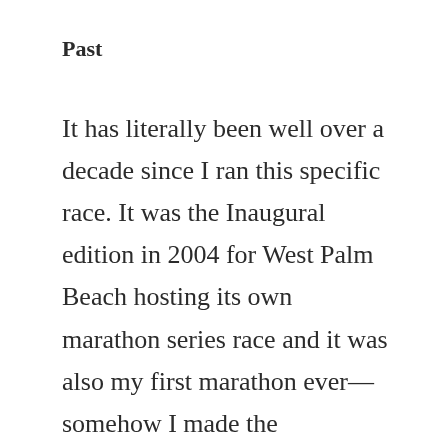Past
It has literally been well over a decade since I ran this specific race. It was the Inaugural edition in 2004 for West Palm Beach hosting its own marathon series race and it was also my first marathon ever—somehow I made the qualification for the 2005 Boston marathon which I immediately signed up for and then finished off my year of marathoning